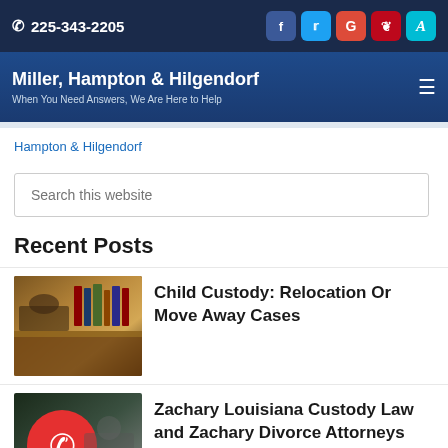225-343-2205
Miller, Hampton & Hilgendorf
When You Need Answers, We Are Here to Help
Hampton & Hilgendorf
Search this website
Recent Posts
[Figure (photo): Courtroom interior with wooden furniture and legal books]
Child Custody: Relocation Or Move Away Cases
[Figure (photo): Red circle with white phone icon, contact image for law firm]
Zachary Louisiana Custody Law and Zachary Divorce Attorneys